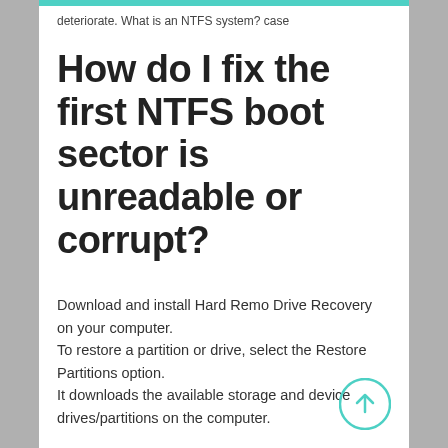deteriorate. What is an NTFS system? case
How do I fix the first NTFS boot sector is unreadable or corrupt?
Download and install Hard Remo Drive Recovery on your computer.
To restore a partition or drive, select the Restore Partitions option.
It downloads the available storage and device drives/partitions on the computer.